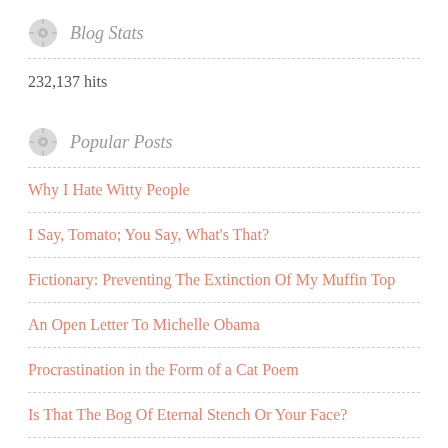Blog Stats
232,137 hits
Popular Posts
Why I Hate Witty People
I Say, Tomato; You Say, What's That?
Fictionary: Preventing The Extinction Of My Muffin Top
An Open Letter To Michelle Obama
Procrastination in the Form of a Cat Poem
Is That The Bog Of Eternal Stench Or Your Face?
5 Reasons Why God Loves Short People Best